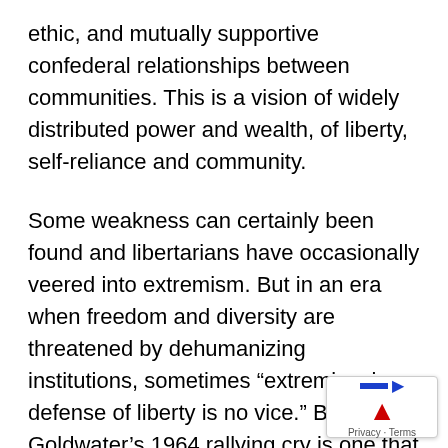ethic, and mutually supportive confederal relationships between communities. This is a vision of widely distributed power and wealth, of liberty, self-reliance and community.
Some weakness can certainly been found and libertarians have occasionally veered into extremism. But in an era when freedom and diversity are threatened by dehumanizing institutions, sometimes “extremism is defense of liberty is no vice.” Barry Goldwater’s 1964 rallying cry is one that many still embrace.
No “ism” can cure all of society’s ills. But by understanding the true similarities and differences among them, in considering and